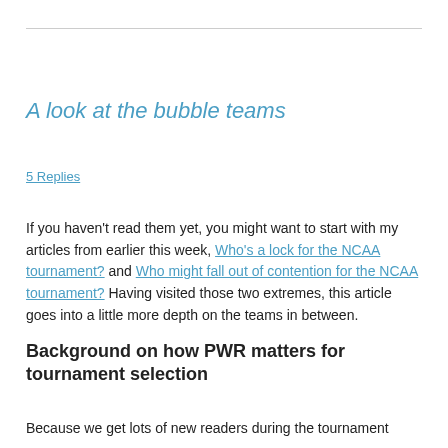A look at the bubble teams
5 Replies
If you haven't read them yet, you might want to start with my articles from earlier this week, Who's a lock for the NCAA tournament? and Who might fall out of contention for the NCAA tournament? Having visited those two extremes, this article goes into a little more depth on the teams in between.
Background on how PWR matters for tournament selection
Because we get lots of new readers during the tournament